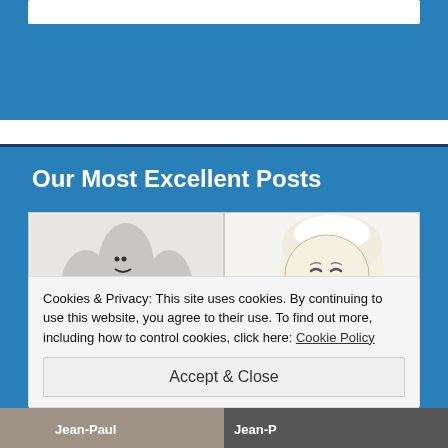[Figure (screenshot): Top blue bar area with white search/input box at top]
Our Most Excellent Posts
[Figure (photo): Two images side by side: left shows finger puppets with faces and a red heart; right shows a cartoon baby/animal character drooling]
Cookies & Privacy: This site uses cookies. By continuing to use this website, you agree to their use. To find out more, including how to control cookies, click here: Cookie Policy
Accept & Close
[Figure (screenshot): Bottom strip showing partial images including text 'Jean-Paul Jean-P']